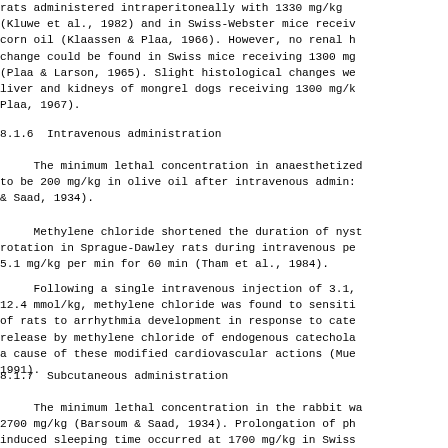rats administered intraperitoneally with 1330 mg/kg (Kluwe et al., 1982) and in Swiss-Webster mice receiving corn oil (Klaassen & Plaa, 1966). However, no renal histological change could be found in Swiss mice receiving 1300 mg/kg (Plaa & Larson, 1965). Slight histological changes were found in liver and kidneys of mongrel dogs receiving 1300 mg/kg (Saad & Plaa, 1967).
8.1.6  Intravenous administration
The minimum lethal concentration in anaesthetized cats was found to be 200 mg/kg in olive oil after intravenous administration (Barsoum & Saad, 1934).
Methylene chloride shortened the duration of nystagmus and body rotation in Sprague-Dawley rats during intravenous perfusion at 5.1 mg/kg per min for 60 min (Tham et al., 1984).
Following a single intravenous injection of 3.1, 6.2, or 12.4 mmol/kg, methylene chloride was found to sensitize the heart of rats to arrhythmia development in response to catecholamines. The release by methylene chloride of endogenous catecholamines may be a cause of these modified cardiovascular actions (Mueller et al., 1991).
8.1.7  Subcutaneous administration
The minimum lethal concentration in the rabbit was found to be 2700 mg/kg (Barsoum & Saad, 1934). Prolongation of phenbarbital-induced sleeping time occurred at 1700 mg/kg in Swiss mice.